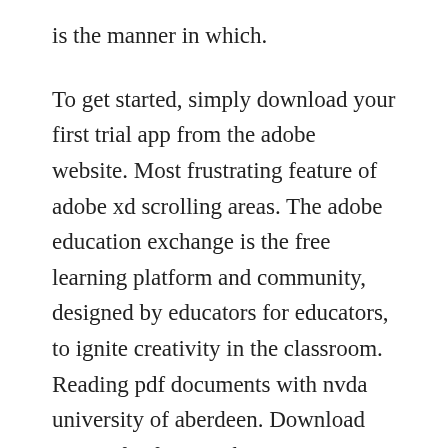is the manner in which.
To get started, simply download your first trial app from the adobe website. Most frustrating feature of adobe xd scrolling areas. The adobe education exchange is the free learning platform and community, designed by educators for educators, to ignite creativity in the classroom. Reading pdf documents with nvda university of aberdeen. Download torrent for free inxeba 2017 tialinquimifelsis. Inside adobe adobe intranet digital workplace group. Adobe director 12 and adobe